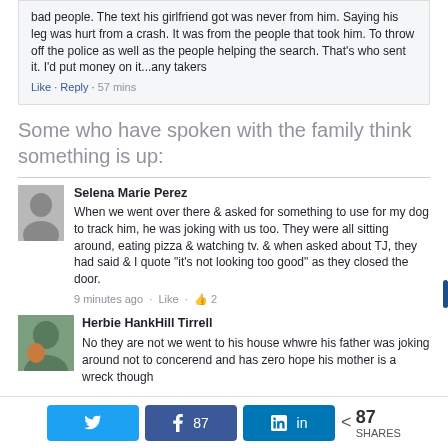bad people. The text his girlfriend got was never from him. Saying his leg was hurt from a crash. It was from the people that took him. To throw off the police as well as the people helping the search. That's who sent it. I'd put money on it...any takers
Like · Reply · 57 mins
Some who have spoken with the family think something is up:
Selena Marie Perez
When we went over there & asked for something to use for my dog to track him, he was joking with us too. They were all sitting around, eating pizza & watching tv. & when asked about TJ, they had said & I quote "it's not looking too good" as they closed the door.
9 minutes ago · Like · 2
Herbie HankHill Tirrell
No they are not we went to his house whwre his father was joking around not to concerend and has zero hope his mother is a wreck though
87 SHARES